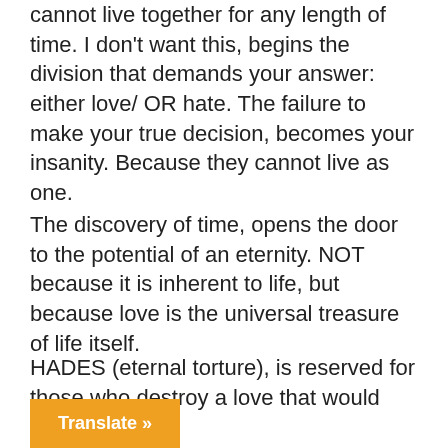cannot live together for any length of time. I don't want this, begins the division that demands your answer: either love/ OR hate. The failure to make your true decision, becomes your insanity. Because they cannot live as one.
The discovery of time, opens the door to the potential of an eternity. NOT because it is inherent to life, but because love is the universal treasure of life itself.
HADES (eternal torture), is reserved for those who destroy a love that would have gone to
Translate »